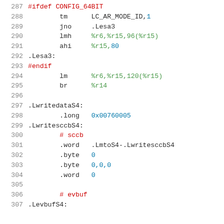[Figure (screenshot): Assembly source code listing, lines 287-307, showing x86-64 assembly with preprocessor directives, labels, and data directives. Syntax highlighted with red for preprocessor/comments, green for registers, blue for numeric literals, and black for mnemonics and labels.]